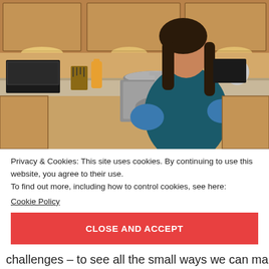[Figure (photo): A young woman with long dark hair wearing blue rubber gloves working at a kitchen sink. She is leaning over washing something in a stainless steel sink. Kitchen appliances including a toaster oven, kettle, and wooden knife block are visible in the background. The kitchen has warm wood-toned cabinets and granite countertops.]
Privacy & Cookies: This site uses cookies. By continuing to use this website, you agree to their use.
To find out more, including how to control cookies, see here:
Cookie Policy
CLOSE AND ACCEPT
challenges – to see all the small ways we can make the